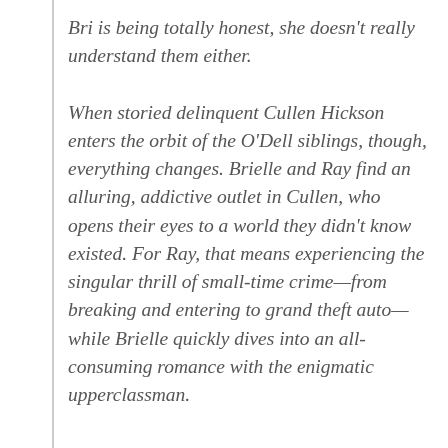Bri is being totally honest, she doesn't really understand them either.
When storied delinquent Cullen Hickson enters the orbit of the O'Dell siblings, though, everything changes. Brielle and Ray find an alluring, addictive outlet in Cullen, who opens their eyes to a world they didn't know existed. For Ray, that means experiencing the singular thrill of small-time crime—from breaking and entering to grand theft auto—while Brielle quickly dives into an all-consuming romance with the enigmatic upperclassman.